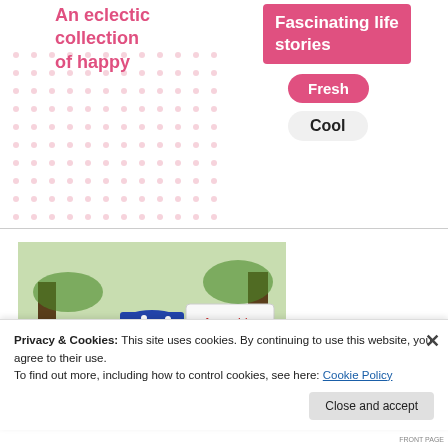An eclectic collection of happy
Fascinating life stories
Fresh
Cool
[Figure (photo): A stuffed doll figure outdoors on a bench with a sign reading 'Let us rejoice and be glad in it. Psalm 118:24' in red italic text on a white card]
Privacy & Cookies: This site uses cookies. By continuing to use this website, you agree to their use.
To find out more, including how to control cookies, see here: Cookie Policy
Close and accept